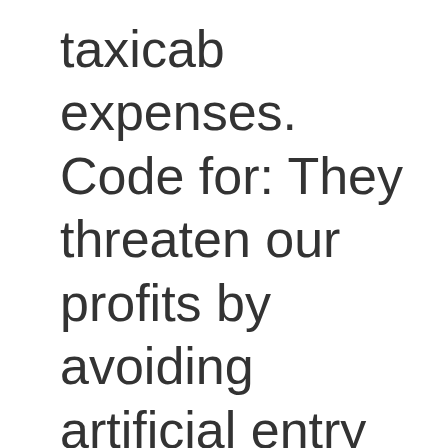taxicab expenses. Code for: They threaten our profits by avoiding artificial entry barriers we've secured